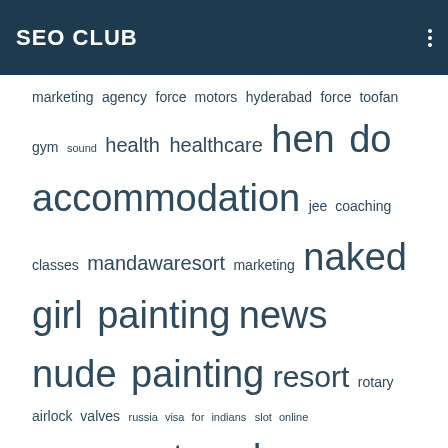SEO CLUB
marketing agency force motors hyderabad force toofan gym sound health healthcare hen do accommodation jee coaching classes mandawaresort marketing naked girl painting news nude painting resort rotary airlock valves russia visa for indians slot online software stag do packages technology top engineering college us cpa us